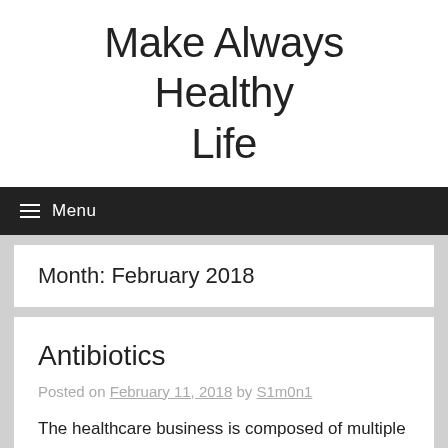Make Always Healthy Life
≡ Menu
Month: February 2018
Antibiotics
Posted on February 11, 2018 by S1m0n1
The healthcare business is composed of multiple